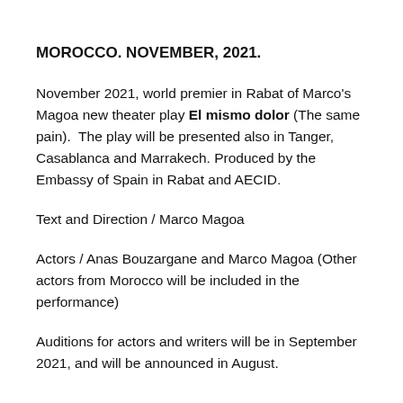MOROCCO. NOVEMBER, 2021.
November 2021, world premier in Rabat of Marco's Magoa new theater play El mismo dolor (The same pain).  The play will be presented also in Tanger, Casablanca and Marrakech. Produced by the Embassy of Spain in Rabat and AECID.
Text and Direction / Marco Magoa
Actors / Anas Bouzargane and Marco Magoa (Other actors from Morocco will be included in the performance)
Auditions for actors and writers will be in September 2021, and will be announced in August.